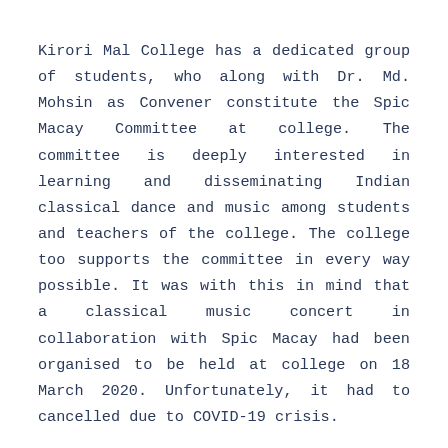Kirori Mal College has a dedicated group of students, who along with Dr. Md. Mohsin as Convener constitute the Spic Macay Committee at college. The committee is deeply interested in learning and disseminating Indian classical dance and music among students and teachers of the college. The college too supports the committee in every way possible. It was with this in mind that a classical music concert in collaboration with Spic Macay had been organised to be held at college on 18 March 2020. Unfortunately, it had to cancelled due to COVID-19 crisis.
On 31st October 2020, Spic Macay – Chapter of Kirori Mal...